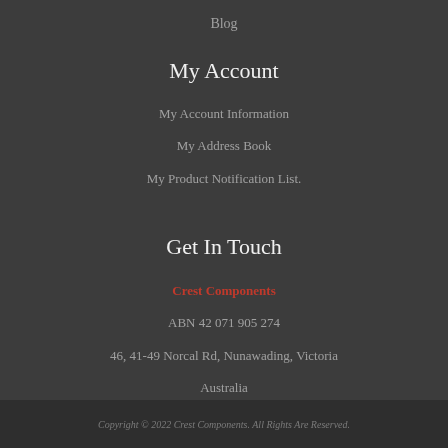Blog
My Account
My Account Information
My Address Book
My Product Notification List.
Get In Touch
Crest Components
ABN 42 071 905 274
46, 41-49 Norcal Rd, Nunawading, Victoria
Australia
Copyright © 2022 Crest Components. All Rights Are Reserved.